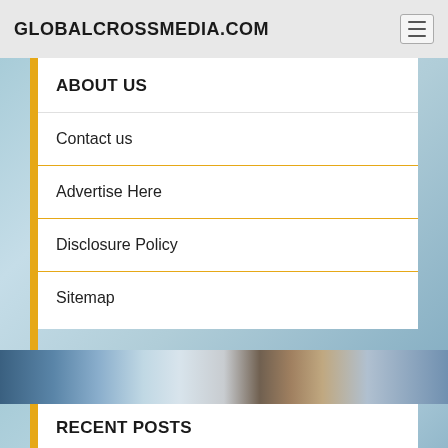GLOBALCROSSMEDIA.COM
ABOUT US
Contact us
Advertise Here
Disclosure Policy
Sitemap
[Figure (photo): Photo strip showing city skyline and business person]
RECENT POSTS
Some Small Enterprise Ideas That You Can Make Use Of